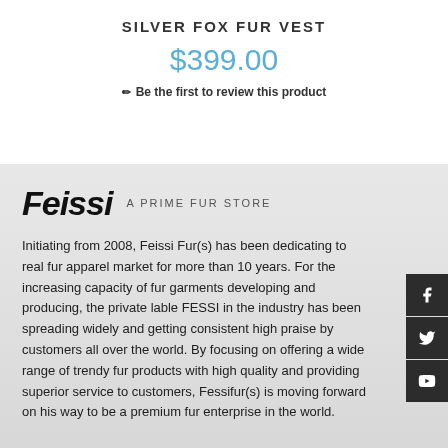SILVER FOX FUR VEST
$399.00
Be the first to review this product
[Figure (logo): Feissi logo with text 'A PRIME FUR STORE']
Initiating from 2008, Feissi Fur(s) has been dedicating to real fur apparel market for more than 10 years. For the increasing capacity of fur garments developing and producing, the private lable FESSI in the industry has been spreading widely and getting consistent high praise by customers all over the world. By focusing on offering a wide range of trendy fur products with high quality and providing superior service to customers, Fessifur(s) is moving forward on his way to be a premium fur enterprise in the world.